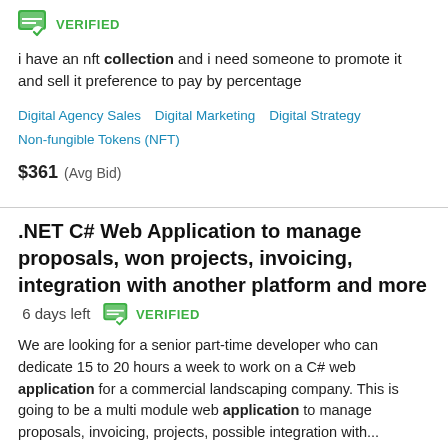[Figure (other): Green verified badge icon with checkmark]
i have an nft collection and i need someone to promote it and sell it preference to pay by percentage
Digital Agency Sales   Digital Marketing   Digital Strategy   Non-fungible Tokens (NFT)
$361  (Avg Bid)
.NET C# Web Application to manage proposals, won projects, invoicing, integration with another platform and more  6 days left  VERIFIED
We are looking for a senior part-time developer who can dedicate 15 to 20 hours a week to work on a C# web application for a commercial landscaping company. This is going to be a multi module web application to manage proposals, invoicing, projects, possible integration with...
.NET Core   AngularJS   C# Programming   Microsoft SQL Server   MVC